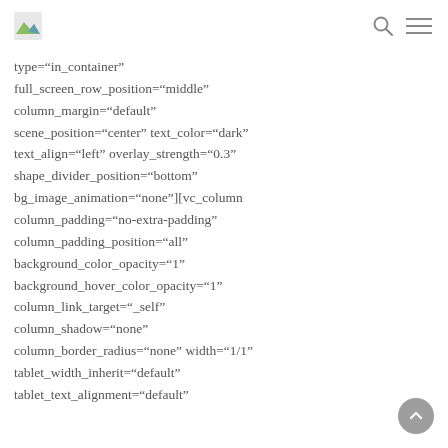[logo] [search icon] [menu icon]
type="in_container"
full_screen_row_position="middle"
column_margin="default"
scene_position="center" text_color="dark"
text_align="left" overlay_strength="0.3"
shape_divider_position="bottom"
bg_image_animation="none"][vc_column
column_padding="no-extra-padding"
column_padding_position="all"
background_color_opacity="1"
background_hover_color_opacity="1"
column_link_target="_self"
column_shadow="none"
column_border_radius="none" width="1/1"
tablet_width_inherit="default"
tablet_text_alignment="default"